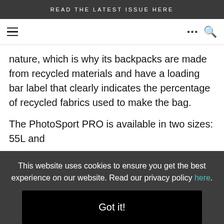READ THE LATEST ISSUE HERE
nature, which is why its backpacks are made from recycled materials and have a loading bar label that clearly indicates the percentage of recycled fabrics used to make the bag.

The PhotoSport PRO is available in two sizes: 55L and
This website uses cookies to ensure you get the best experience on our website. Read our privacy policy here.
Got it!